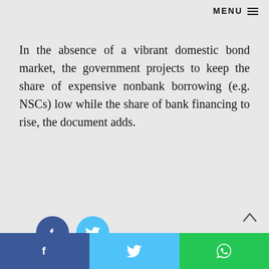MENU
In the absence of a vibrant domestic bond market, the government projects to keep the share of expensive nonbank borrowing (e.g. NSCs) low while the share of bank financing to rise, the document adds.
[Figure (illustration): Two social share buttons: a dark blue Facebook button with 'f' icon and a light blue Twitter button with bird icon]
Fahad Ferdous
[Figure (illustration): Circular avatar placeholder with generic user silhouette icon in grey]
Social sharing bar with Facebook, Twitter, and WhatsApp buttons